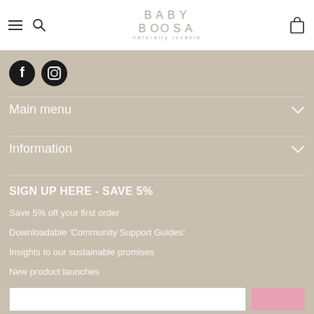Baby Boosa - Naturally Lovable
[Figure (logo): Baby Boosa brand logo with tagline 'naturally lovable' in a beige/taupe color scheme]
[Figure (illustration): Social media icons: Facebook (f) and Instagram camera icon, both as black filled circles]
Main menu
Information
SIGN UP HERE - SAVE 5%
Save 5% off your first order
Downloadable 'Community Support Guides'
Insights to our sustainable promises
New product launches